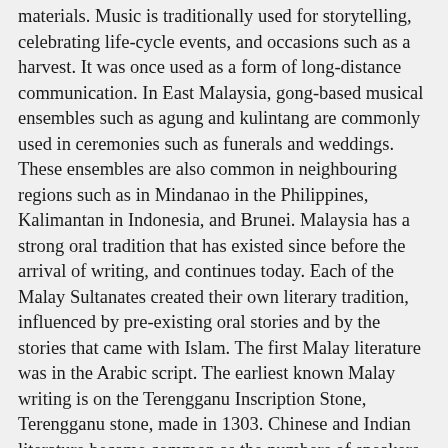materials. Music is traditionally used for storytelling, celebrating life-cycle events, and occasions such as a harvest. It was once used as a form of long-distance communication. In East Malaysia, gong-based musical ensembles such as agung and kulintang are commonly used in ceremonies such as funerals and weddings. These ensembles are also common in neighbouring regions such as in Mindanao in the Philippines, Kalimantan in Indonesia, and Brunei. Malaysia has a strong oral tradition that has existed since before the arrival of writing, and continues today. Each of the Malay Sultanates created their own literary tradition, influenced by pre-existing oral stories and by the stories that came with Islam. The first Malay literature was in the Arabic script. The earliest known Malay writing is on the Terengganu Inscription Stone, Terengganu stone, made in 1303. Chinese and Indian literature became common as the numbers of speakers increased in Malaysia, and locally produced works based in languages from those areas began to be produced in the 19th century. English has also become a common literary language. In 1971, the government took the step of defining the literature of different languages. Literature written in Malay was called "the national literature of Malaysia", literature in other "bumiputera" languages was called "regional literature", while